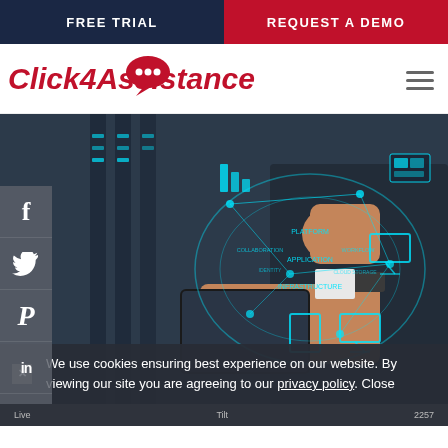FREE TRIAL | REQUEST A DEMO
[Figure (logo): Click4Assistance logo with red speech bubble and red italic text]
[Figure (photo): Business person holding a tablet with holographic technology network diagram overlaid showing PLATFORM, APPLICATION, INFRASTRUCTURE, and connected nodes. Social media icons (Facebook, Twitter, Pinterest, LinkedIn, Google+) visible on left sidebar.]
We use cookies ensuring best experience on our website. By viewing our site you are agreeing to our privacy policy. Close
Live  Tilt  2257